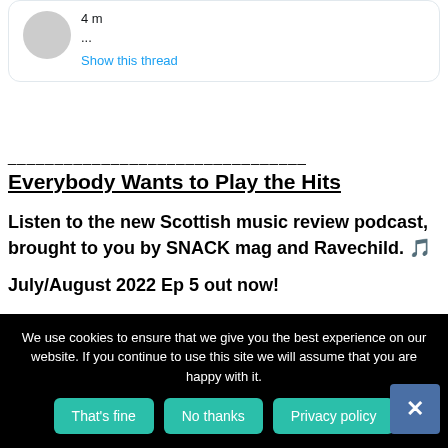... Show this thread
________________________________
Everybody Wants to Play the Hits
Listen to the new Scottish music review podcast, brought to you by SNACK mag and Ravechild. 🎵
July/August 2022 Ep 5 out now!
We use cookies to ensure that we give you the best experience on our website. If you continue to use this site we will assume that you are happy with it.
That's fine
No thanks
Privacy policy